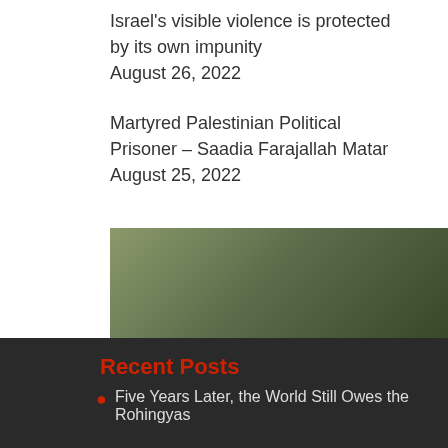Israel's visible violence is protected by its own impunity August 26, 2022
Martyred Palestinian Political Prisoner – Saadia Farajallah Matar August 25, 2022
[Figure (screenshot): Video thumbnail showing a scene with a play button overlay. Bottom overlay text reads: '947 PALESTINIANS WERE INJURED WITH ISRAELI BULLET FIRE' on a yellow banner.]
Recent Posts
Five Years Later, the World Still Owes the Rohingyas